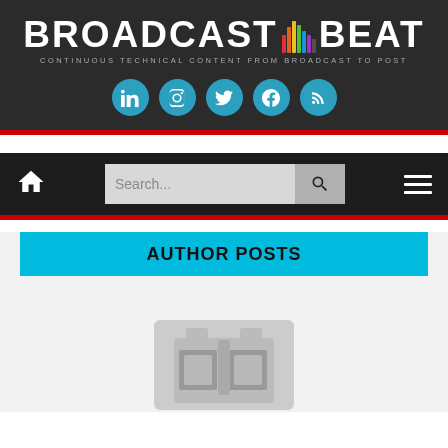BROADCAST BEAT — CONTINUOUS TECHNICAL CONTENT FROM BROADCAST TO POST
AUTHOR POSTS
[Figure (screenshot): Blurred placeholder thumbnail image of a broadcast/media related graphic]